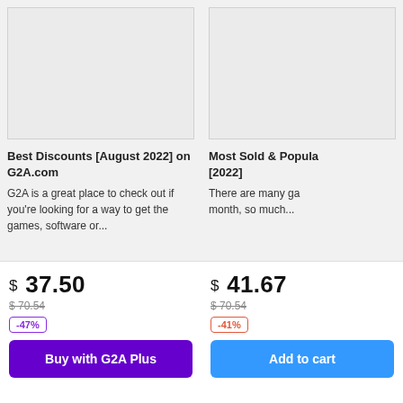[Figure (other): Empty card image placeholder for Best Discounts article]
Best Discounts [August 2022] on G2A.com
G2A is a great place to check out if you're looking for a way to get the games, software or...
[Figure (other): Empty card image placeholder for Most Sold & Popular article]
Most Sold & Popular [2022]
There are many games month, so much...
$ 37.50
$ 70.54
-47%
$ 41.67
$ 70.54
-41%
Buy with G2A Plus
Add to cart